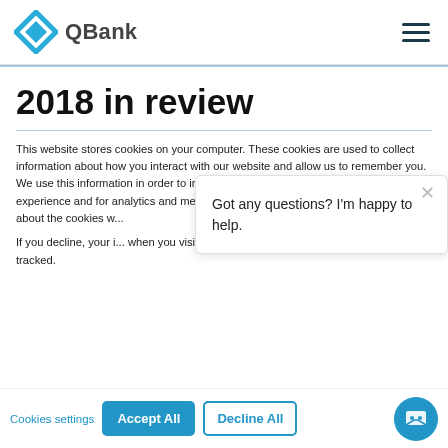QBank
2018 in review
This website stores cookies on your computer. These cookies are used to collect information about how you interact with our website and allow us to remember you. We use this information in order to improve and customize your browsing experience and for analytics and metrics about our visitors both on this website and about the cookies w...
If you decline, your i... when you visit this w... used in your browse... not to be tracked.
Got any questions? I'm happy to help.
Cookies settings  Accept All  Decline All